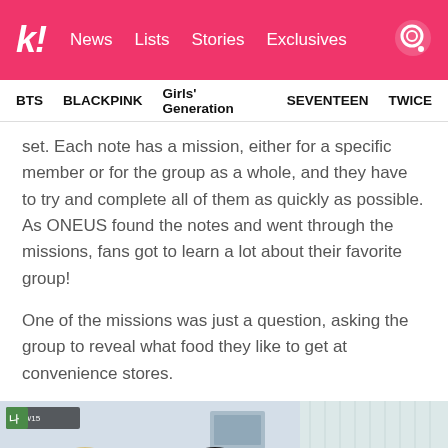k! News  Lists  Stories  Exclusives
BTS  BLACKPINK  Girls' Generation  SEVENTEEN  TWICE
set. Each note has a mission, either for a specific member or for the group as a whole, and they have to try and complete all of them as quickly as possible. As ONEUS found the notes and went through the missions, fans got to learn a lot about their favorite group!
One of the missions was just a question, asking the group to reveal what food they like to get at convenience stores.
[Figure (photo): Screenshot from a Korean TV show with Korean text overlay showing '품 10/15', featuring people with backs to camera in what appears to be an indoor setting.]